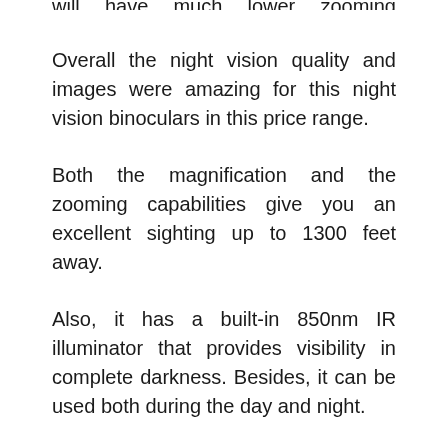will have much lower zooming capabilities.
Overall the night vision quality and images were amazing for this night vision binoculars in this price range.
Both the magnification and the zooming capabilities give you an excellent sighting up to 1300 feet away.
Also, it has a built-in 850nm IR illuminator that provides visibility in complete darkness. Besides, it can be used both during the day and night.
Thanks to the powerful IR illuminator present in this night vision binoculars, that